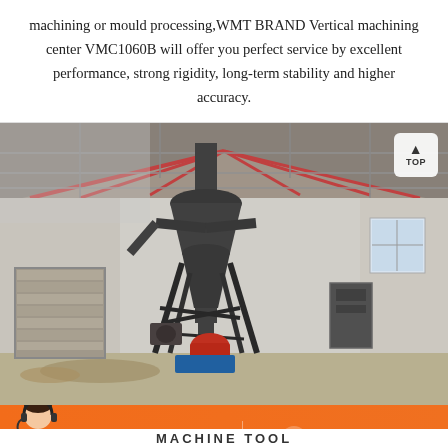machining or mould processing,WMT BRAND Vertical machining center VMC1060B will offer you perfect service by excellent performance, strong rigidity, long-term stability and higher accuracy.
[Figure (photo): Industrial facility interior showing a large cyclone dust collector or separator machine (tall cylindrical/conical metal structure) mounted on a support frame inside a warehouse with metal roof trusses. Various industrial equipment and machinery visible in the background.]
Message
Online Chat
MACHINE TOOL